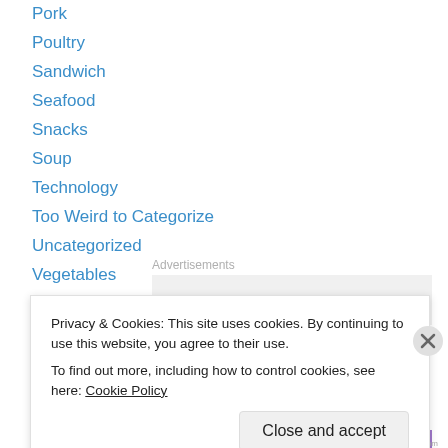Pork
Poultry
Sandwich
Seafood
Snacks
Soup
Technology
Too Weird to Categorize
Uncategorized
Vegetables
Advertisements
Privacy & Cookies: This site uses cookies. By continuing to use this website, you agree to their use.
To find out more, including how to control cookies, see here: Cookie Policy
Close and accept